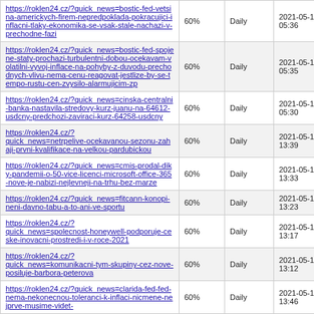| URL | Confidence | Frequency | Date |
| --- | --- | --- | --- |
| https://roklen24.cz/?quick_news=bostic-fed-vetsina-americkych-firem-nepredpoklada-pokracujici-inflacni-tlaky-ekonomika-se-vsak-stale-nachazi-v-prechodne-fazi | 60% | Daily | 2021-05-13 05:36 |
| https://roklen24.cz/?quick_news=bostic-fed-spojene-staty-prochazi-turbulentni-dobou-ocekavam-volatilni-vyvoj-inflace-na-pohyby-z-duvodu-prechodnych-vlivu-nema-cenu-reagovat-jestlize-by-se-tempo-rustu-cen-zvysilo-alarmujicim-zp | 60% | Daily | 2021-05-13 05:35 |
| https://roklen24.cz/?quick_news=cinska-centralni-banka-nastavila-stredovy-kurz-juanu-na-64612-usdcny-predchozi-zaviraci-kurz-64258-usdcny | 60% | Daily | 2021-05-13 05:30 |
| https://roklen24.cz/?quick_news=netrpelive-ocekavanou-sezonu-zahaji-prvni-kvalifikace-na-velkou-pardubickou | 60% | Daily | 2021-05-12 13:39 |
| https://roklen24.cz/?quick_news=cmis-prodal-diky-pandemii-o-50-vice-licenci-microsoft-office-365-nove-je-nabizi-nejlevneji-na-trhu-bez-marze | 60% | Daily | 2021-05-12 13:33 |
| https://roklen24.cz/?quick_news=fitcann-konopi-neni-davno-tabu-a-to-ani-ve-sportu | 60% | Daily | 2021-05-12 13:23 |
| https://roklen24.cz/?quick_news=spolecnost-honeywell-podporuje-ceske-inovacni-prostredi-i-v-roce-2021 | 60% | Daily | 2021-05-12 13:17 |
| https://roklen24.cz/?quick_news=komunikacni-tym-skupiny-cez-nove-posiluje-barbora-peterova | 60% | Daily | 2021-05-12 13:12 |
| https://roklen24.cz/?quick_news=clarida-fed-fed-nema-nekonecnou-toleranci-k-inflaci-nicmene-nejprve-musime-videt- | 60% | Daily | 2021-05-12 13:46 |